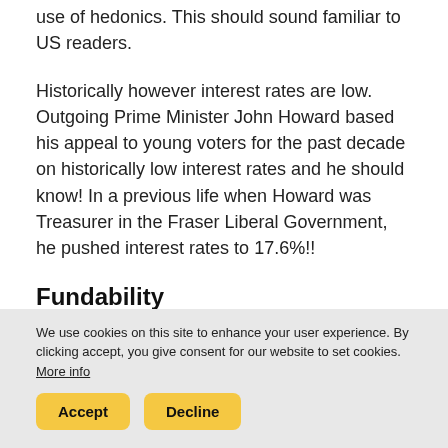use of hedonics. This should sound familiar to US readers.
Historically however interest rates are low. Outgoing Prime Minister John Howard based his appeal to young voters for the past decade on historically low interest rates and he should know! In a previous life when Howard was Treasurer in the Fraser Liberal Government, he pushed interest rates to 17.6%!!
Fundability
I use this term to describe not only liquidity but access to that liquidity. This is the big lever that is never discussed as Government spin doctors have
We use cookies on this site to enhance your user experience. By clicking accept, you give consent for our website to set cookies. More info